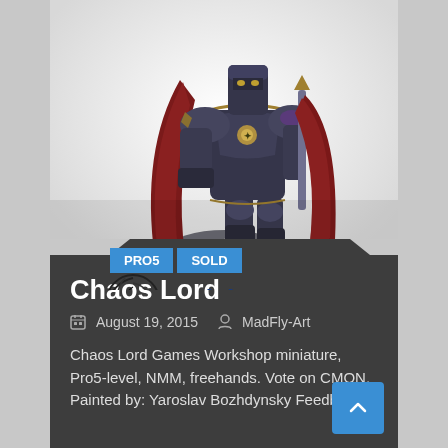[Figure (photo): Painted Chaos Lord Games Workshop miniature on a rocky base, showing armored figure with dark armor and red cape, skull at feet. PRO5 and SOLD badges visible. MadFly-Art.com logo overlay.]
Chaos Lord
August 19, 2015   MadFly-Art
Chaos Lord Games Workshop miniature, Pro5-level, NMM, freehands. Vote on CMON. Painted by: Yaroslav Bozhdynsky Feedback: